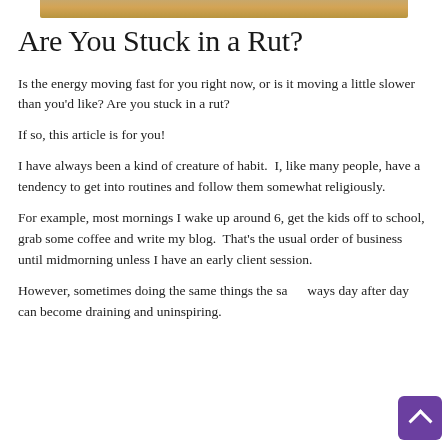[Figure (photo): Partial view of a wooden surface or table edge at the top of the page]
Are You Stuck in a Rut?
Is the energy moving fast for you right now, or is it moving a little slower than you'd like? Are you stuck in a rut?
If so, this article is for you!
I have always been a kind of creature of habit.  I, like many people, have a tendency to get into routines and follow them somewhat religiously.
For example, most mornings I wake up around 6, get the kids off to school, grab some coffee and write my blog.  That's the usual order of business until midmorning unless I have an early client session.
However, sometimes doing the same things the same ways day after day can become draining and uninspiring.